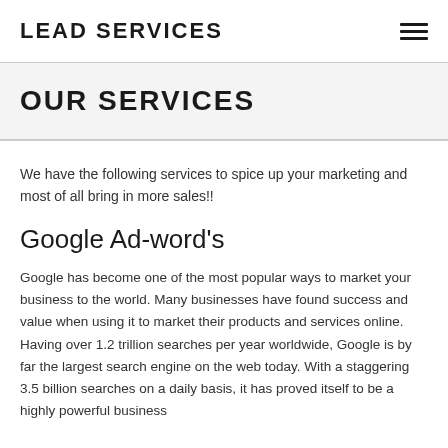LEAD SERVICES
OUR SERVICES
We have the following services to spice up your marketing and most of all bring in more sales!!
Google Ad-word's
Google has become one of the most popular ways to market your business to the world. Many businesses have found success and value when using it to market their products and services online. Having over 1.2 trillion searches per year worldwide, Google is by far the largest search engine on the web today. With a staggering 3.5 billion searches on a daily basis, it has proved itself to be a highly powerful business